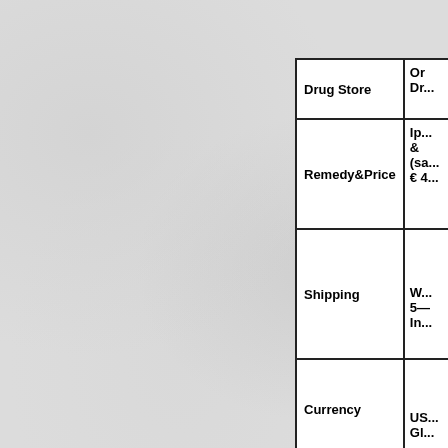| Drug Store | On Dr... |
| --- | --- |
| Drug Store | On
Dr... |
| Remedy&Price | Ip...
&
(sa...
€ 4... |
| Shipping | W...
5—
In... |
| Currency | US...
Gl... |